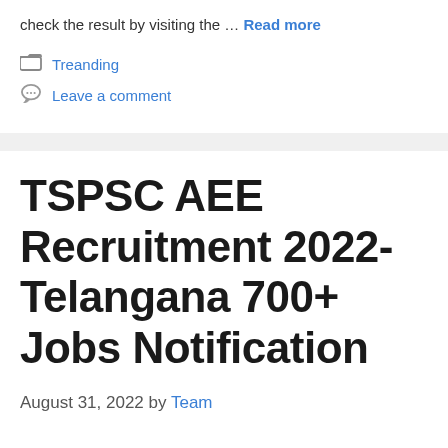check the result by visiting the … Read more
Treanding
Leave a comment
TSPSC AEE Recruitment 2022-Telangana 700+ Jobs Notification
August 31, 2022 by Team